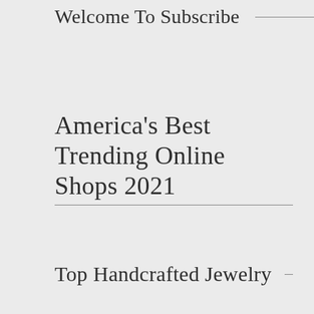Welcome To Subscribe
America's Best Trending Online Shops 2021
Top Handcrafted Jewelry